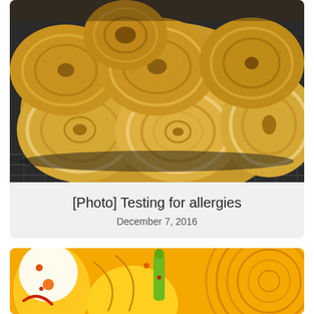[Figure (photo): Close-up photo of layered pull-apart bread rolls with visible flaky swirl layers, sitting on a wire cooling rack. The bread has a golden-brown color with intricate roll patterns.]
[Photo] Testing for allergies
December 7, 2016
[Figure (illustration): Colorful abstract illustration with yellow, orange, and red circular swirl patterns and shapes, with a green figure visible in the center. Appears to be an artistic/infographic image.]